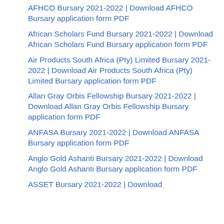AFHCO Bursary 2021-2022 | Download AFHCO Bursary application form PDF
African Scholars Fund Bursary 2021-2022 | Download African Scholars Fund Bursary application form PDF
Air Products South Africa (Pty) Limited Bursary 2021-2022 | Download Air Products South Africa (Pty) Limited Bursary application form PDF
Allan Gray Orbis Fellowship Bursary 2021-2022 | Download Allan Gray Orbis Fellowship Bursary application form PDF
ANFASA Bursary 2021-2022 | Download ANFASA Bursary application form PDF
Anglo Gold Ashanti Bursary 2021-2022 | Download Anglo Gold Ashanti Bursary application form PDF
ASSET Bursary 2021-2022 | Download